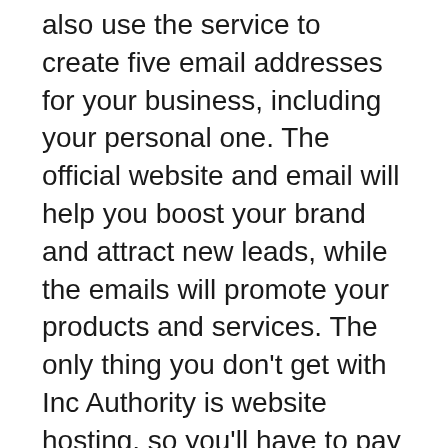also use the service to create five email addresses for your business, including your personal one. The official website and email will help you boost your brand and attract new leads, while the emails will promote your products and services. The only thing you don't get with Inc Authority is website hosting, so you'll have to pay for your own hosting for these.
Among the many options available, Inc Authority offers a variety of pricing options. Depending on the type of website you need, you can choose to purchase additional services without signing up for a business bundle. Prices are not readily available on the website. You will need to contact the company for more information. You may also